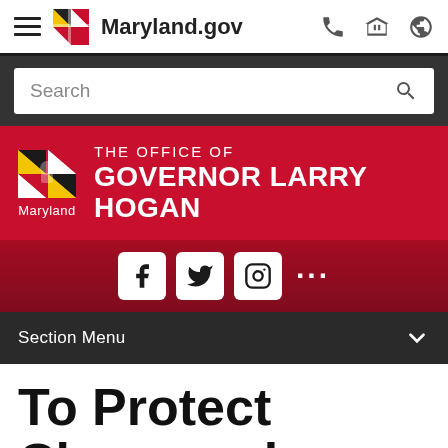Maryland.gov navigation header with hamburger menu, Maryland.gov logo, phone icon, building icon, globe icon
[Figure (screenshot): Search bar on dark background]
[Figure (logo): The Office of Governor Larry Hogan - Maryland state banner in red with Maryland flag logo]
[Figure (infographic): Social media icons: Facebook, Twitter, Instagram, and more (ellipsis) on dark red background]
Section Menu
To Protect Chesapeake Bay